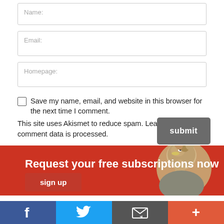Name:
Email:
Homepage:
Save my name, email, and website in this browser for the next time I comment.
This site uses Akismet to reduce spam. Learn how your comment data is processed.
submit
Request your free subscriptions now
sign up
[Figure (illustration): Ostrich head photo on red background]
f
t (Twitter bird)
[Figure (illustration): Email/RSS icon]
+